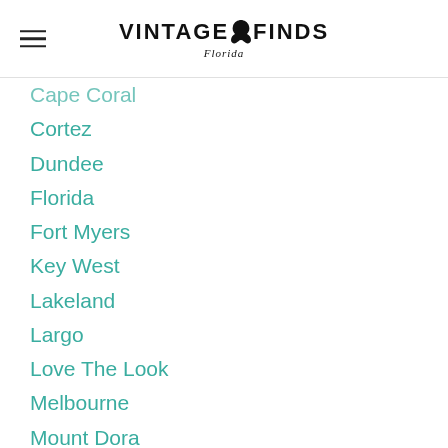Vintage Finds Florida
Cape Coral
Cortez
Dundee
Florida
Fort Myers
Key West
Lakeland
Largo
Love The Look
Melbourne
Mount Dora
Orlando
Pinellas Park
Places To See
Plant City
St. Augustine
St. Cloud
Tampa